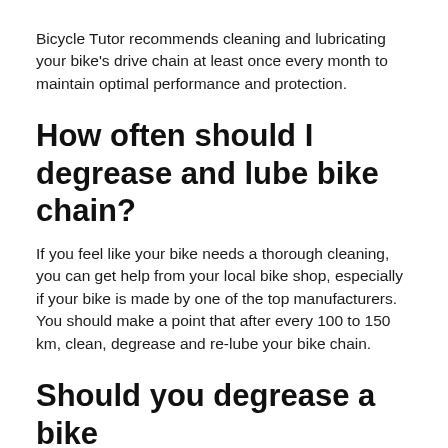Bicycle Tutor recommends cleaning and lubricating your bike’s drive chain at least once every month to maintain optimal performance and protection.
How often should I degrease and lube bike chain?
If you feel like your bike needs a thorough cleaning, you can get help from your local bike shop, especially if your bike is made by one of the top manufacturers. You should make a point that after every 100 to 150 km, clean, degrease and re-lube your bike chain.
Should you degrease a bike